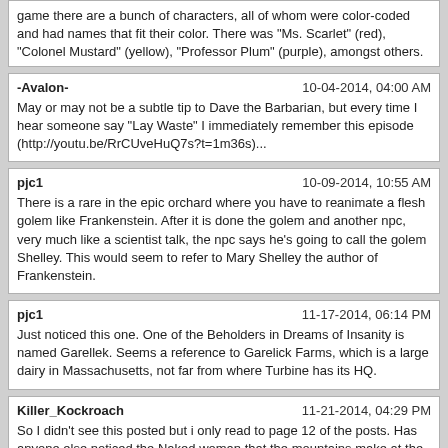game there are a bunch of characters, all of whom were color-coded and had names that fit their color. There was "Ms. Scarlet" (red), "Colonel Mustard" (yellow), "Professor Plum" (purple), amongst others.
-Avalon-
10-04-2014, 04:00 AM
May or may not be a subtle tip to Dave the Barbarian, but every time I hear someone say "Lay Waste" I immediately remember this episode (http://youtu.be/RrCUveHuQ7s?t=1m36s)...
pjc1
10-09-2014, 10:55 AM
There is a rare in the epic orchard where you have to reanimate a flesh golem like Frankenstein. After it is done the golem and another npc, very much like a scientist talk, the npc says he's going to call the golem Shelley. This would seem to refer to Mary Shelley the author of Frankenstein.
pjc1
11-17-2014, 06:14 PM
Just noticed this one. One of the Beholders in Dreams of Insanity is named Garellek. Seems a reference to Garelick Farms, which is a large dairy in Massachusetts, not far from where Turbine has its HQ.
Killer_Kockroach
11-21-2014, 04:29 PM
So I didn't see this posted but i only read to page 12 of the posts. Has anyone else noticed the Naked woman that the mountains make at the end of the Cult of the Six quest series on Sorrowdusk Isle?
lyrecono
12-07-2014, 02:00 PM
screenshot? or it didn't happen :P